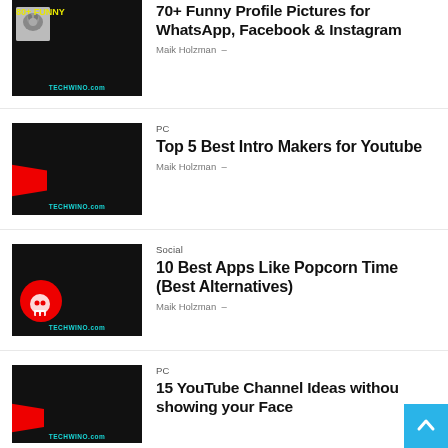[Figure (photo): Thumbnail image for article about funny profile pictures for social media on TECHWINO.com]
70+ Funny Profile Pictures for WhatsApp, Facebook & Instagram
Maik Holzman -
[Figure (photo): Thumbnail image for article about best intro makers for YouTube on TECHWINO.com]
PC
Top 5 Best Intro Makers for Youtube
Maik Holzman -
[Figure (photo): Thumbnail image for article about 10 best apps like Popcorn Time on TECHWINO.com]
Social
10 Best Apps Like Popcorn Time (Best Alternatives)
Maik Holzman -
[Figure (photo): Thumbnail image for article about YouTube channel ideas without showing your face on TECHWINO.com]
PC
15 YouTube Channel Ideas without showing your Face